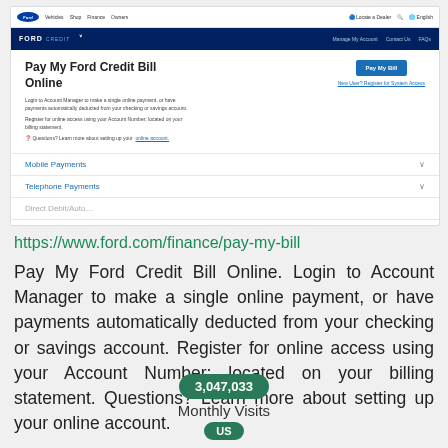[Figure (screenshot): Screenshot of ford.com/finance/pay-my-bill page showing 'Pay My Ford Credit Bill Online' heading, description text, Pay My Bill button, Mobile Payments and Telephone Payments accordion sections]
https://www.ford.com/finance/pay-my-bill
Pay My Ford Credit Bill Online. Login to Account Manager to make a single online payment, or have payments automatically deducted from your checking or savings account. Register for online access using your Account Number; located on your billing statement. Questions? Learn more about setting up your online account.
3,047,033
Monthly Visits
US